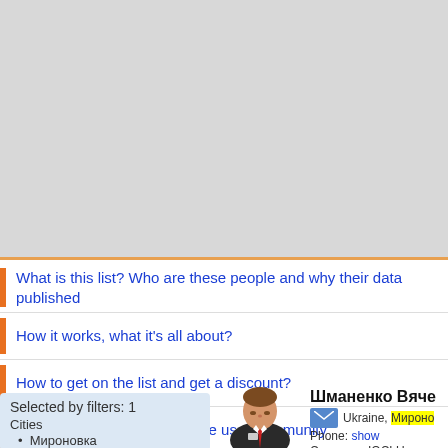[Figure (screenshot): Gray top area representing clipped/scrolled web page content area]
What is this list? Who are these people and why their data published
How it works, what it's all about?
How to get on the list and get a discount?
Our principles of work with the user community
Selected by filters: 1
Cities
Мироновка
Reset all filters
[Figure (illustration): Business person icon - man in suit with red tie]
Шманенко Вяче
Ukraine, Мироно
Phone: show
Company: IQCLU
Activity: Gifts, Toy